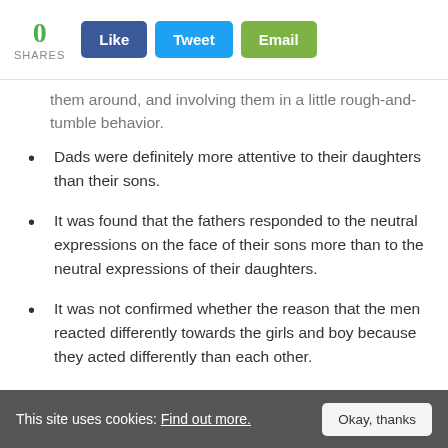0 SHARES | Like | Tweet | Email
them around, and involving them in a little rough-and-tumble behavior.
Dads were definitely more attentive to their daughters than their sons.
It was found that the fathers responded to the neutral expressions on the face of their sons more than to the neutral expressions of their daughters.
It was not confirmed whether the reason that the men reacted differently towards the girls and boy because they acted differently than each other.
There is always some apprehension regarding specified tests because especially in this case, the number of men who were tested was very
This site uses cookies: Find out more. Okay, thanks